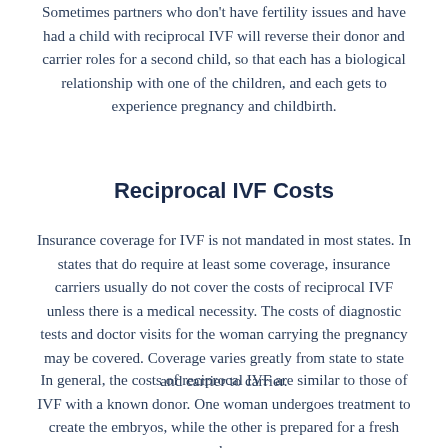Sometimes partners who don't have fertility issues and have had a child with reciprocal IVF will reverse their donor and carrier roles for a second child, so that each has a biological relationship with one of the children, and each gets to experience pregnancy and childbirth.
Reciprocal IVF Costs
Insurance coverage for IVF is not mandated in most states. In states that do require at least some coverage, insurance carriers usually do not cover the costs of reciprocal IVF unless there is a medical necessity. The costs of diagnostic tests and doctor visits for the woman carrying the pregnancy may be covered. Coverage varies greatly from state to state and carrier to carrier.
In general, the costs of reciprocal IVF are similar to those of IVF with a known donor. One woman undergoes treatment to create the embryos, while the other is prepared for a fresh embryo